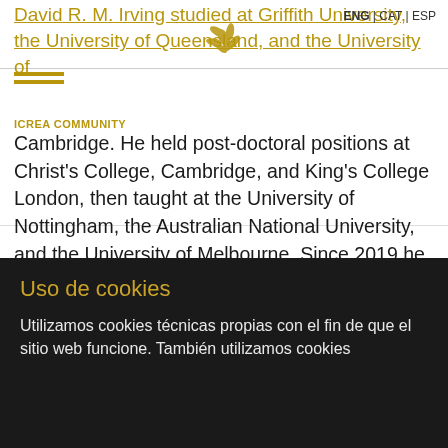ENG | CAT | ESP
David R. M. Irving studied at Griffith University, the University of Queensland, and the University of Cambridge. He held post-doctoral positions at Christ's College, Cambridge, and King's College London, then taught at the University of Nottingham, the Australian National University, and the University of Melbourne. Since 2019 he has been an ICREA Research Professor at the Institució Milà i Fontanals de Recerca en Humanitats, CSIC. His research interests include the role of music in early modern intercultural contact, the global history of music, and historical performance practice. He is co-editor of the journal Eighteenth-Century Music (Cambridge University Press) and co-general editor of the forthcoming Cultural History of Western Music (Bloomsbury, 2023). His awards include the
ICREA COMMUNITY
Uso de cookies
Utilizamos cookies técnicas propias con el fin de que el sitio web funcione. También utilizamos cookies